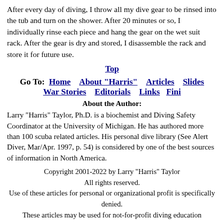After every day of diving, I throw all my dive gear to be rinsed into the tub and turn on the shower. After 20 minutes or so, I individually rinse each piece and hang the gear on the wet suit rack. After the gear is dry and stored, I disassemble the rack and store it for future use.
Top
Go To: Home   About "Harris"   Articles   Slides   War Stories   Editorials   Links   Fini
About the Author:
Larry "Harris" Taylor, Ph.D. is a biochemist and Diving Safety Coordinator at the University of Michigan. He has authored more than 100 scuba related articles. His personal dive library (See Alert Diver, Mar/Apr. 1997, p. 54) is considered by one of the best sources of information in North America.
Copyright 2001-2022 by Larry "Harris" Taylor
All rights reserved.
Use of these articles for personal or organizational profit is specifically denied.
These articles may be used for not-for-profit diving education